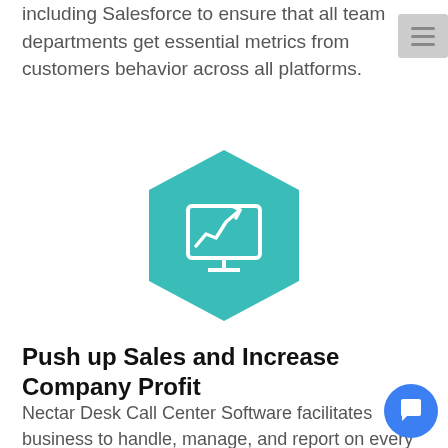including Salesforce to ensure that all team departments get essential metrics from customers behavior across all platforms.
[Figure (illustration): Teal hexagon icon with a white computer monitor showing an upward trending line chart with an arrow]
Push up Sales and Increase Company Profit
Nectar Desk Call Center Software facilitates business to handle, manage, and report on every client interaction from all communication channels...